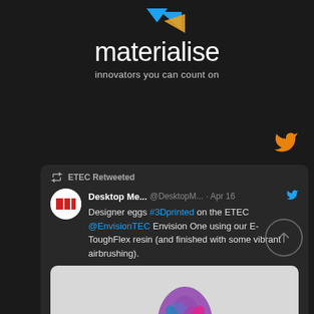[Figure (logo): Materialise logo: blue geometric triangles above the text 'materialise' with tagline 'innovators you can count on']
[Figure (screenshot): Twitter/X screenshot showing ETEC Retweeted post by Desktop Me... @DesktopM... on Apr 16. Text: Designer eggs #3Dprinted on the ETEC @EnvisionTEC Envision One using our E-ToughFlex resin (and finished with some vibrant airbrushing). Below is a partial image of a colorful 3D printed egg.]